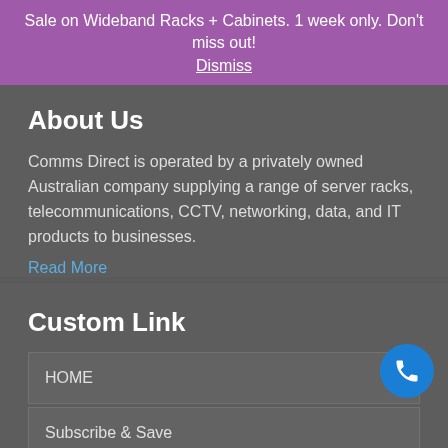Sale on Wideband Racks + Cabinets. 1 week only. Don't miss out! Dismiss
About Us
Comms Direct is operated by a privately owned Australian company supplying a range of server racks, telecommunications, CCTV, networking, data, and IT products to businesses.
Read More
Custom Link
HOME
Subscribe & Save
Server Racks, Network Racks + Comms & Data